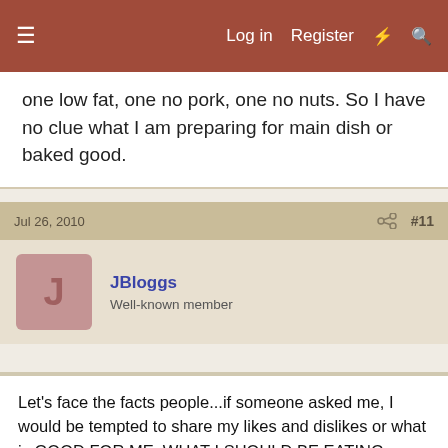≡  Log in  Register  ⚡  🔍
one low fat, one no pork, one no nuts. So I have no clue what I am preparing for main dish or baked good.
Jul 26, 2010   #11
JBloggs
Well-known member
Let's face the facts people...if someone asked me, I would be tempted to share my likes and dislikes or what is GOOD FOR ME, WHAT I SHOULD BE EATING vs a big ol' slab of bacon and eggs!
I abide by the "don't ask don't tell" theory of innkeeping. in all areas, which includes breakfast!
Allergies or restrictions I can abide, likes and dislikes, I mean come on! We all have likes and dislikes!
Remember my motto "If you don;t like it or can't eat it, just leave it on the plate, it won't hurt my